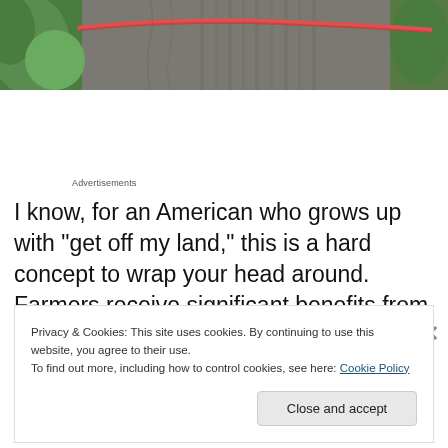[Figure (photo): Close-up photograph of an elephant with a pink/red rope around its neck, with green foliage in the background. Shows the elephant's wrinkled grey skin and striped fabric or covering.]
Advertisements
I know, for an American who grows up with “get off my land,” this is a hard concept to wrap your head around. Farmers receive significant benefits from the
Privacy & Cookies: This site uses cookies. By continuing to use this website, you agree to their use.
To find out more, including how to control cookies, see here: Cookie Policy
Close and accept